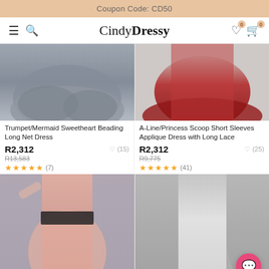Coupon Code: CD50
[Figure (logo): CindyDressy logo with navigation icons (hamburger, search, wishlist with badge 0, cart with badge 0)]
[Figure (photo): Bottom portion of gray/charcoal tulle ball gown dress on model]
[Figure (photo): Bottom portion of red long gown with train on model]
Trumpet/Mermaid Sweetheart Beading Long Net Dress
A-Line/Princess Scoop Short Sleeves Applique Dress with Long Lace
R2,312
R13,583
★★★★★ (7)
♡ (15)
R2,312
R9,775
★★★★★ (41)
♡ (25)
[Figure (photo): Full length pink one-shoulder dress with black lace applique at waist on model]
[Figure (photo): Full length silver/white strapless mermaid gown with side slit on model]